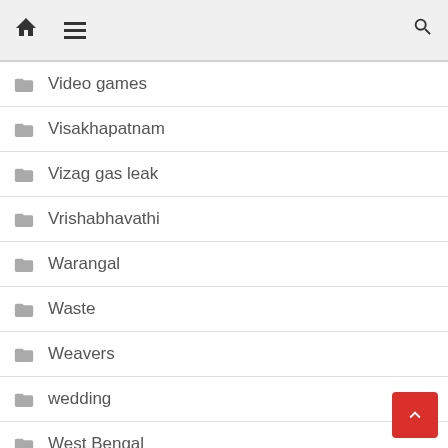Home | Menu | Search
Video games
Visakhapatnam
Vizag gas leak
Vrishabhavathi
Warangal
Waste
Weavers
wedding
West Bengal
Wildlife
wines